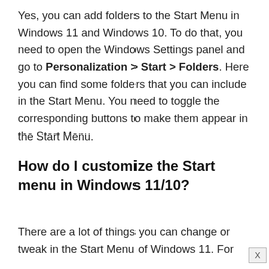Yes, you can add folders to the Start Menu in Windows 11 and Windows 10. To do that, you need to open the Windows Settings panel and go to Personalization > Start > Folders. Here you can find some folders that you can include in the Start Menu. You need to toggle the corresponding buttons to make them appear in the Start Menu.
How do I customize the Start menu in Windows 11/10?
There are a lot of things you can change or tweak in the Start Menu of Windows 11. For